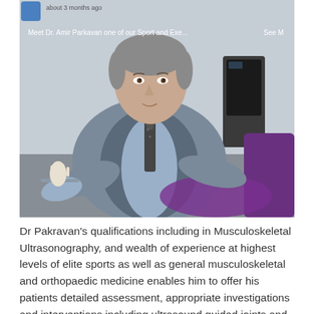[Figure (photo): Photo of Dr. Amir Parkavan, a male doctor in a grey vest and tie sitting at a desk in a clinical setting, holding an anatomical model. Overlay text reads 'about 3 months ago' and 'Meet Dr. Amir Parkavan one of our Sport and Exe... See M']
Dr Pakravan's qualifications including in Musculoskeletal Ultrasonography, and wealth of experience at highest levels of elite sports as well as general musculoskeletal and orthopaedic medicine enables him to offer his patients detailed assessment, appropriate investigations and interventions including ultrasound guided joints and soft tissue injections, and a tailormade personalised